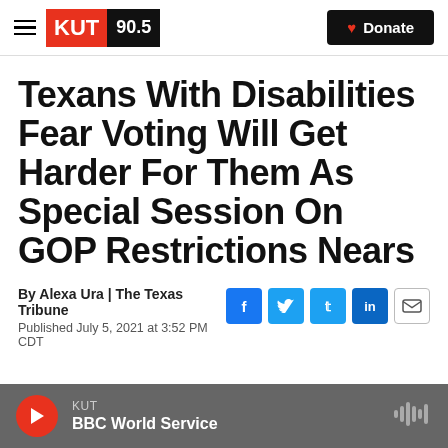KUT 90.5 | Donate
Texans With Disabilities Fear Voting Will Get Harder For Them As Special Session On GOP Restrictions Nears
By Alexa Ura | The Texas Tribune
Published July 5, 2021 at 3:52 PM CDT
[Figure (screenshot): Audio player bar showing KUT BBC World Service with play button and waveform icon]